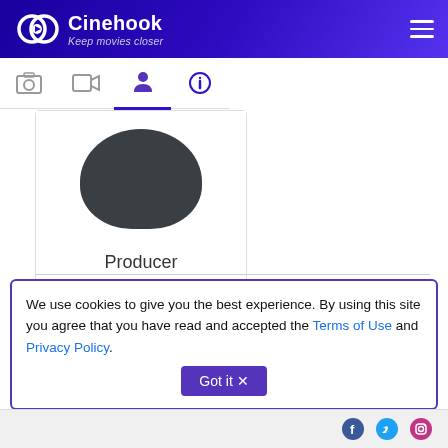Cinehook — Keep movies closer
[Figure (screenshot): Cinehook website navigation with tab bar showing photo, video, person, and info icons. A person card showing a dark silhouette labeled 'Producer' is visible below.]
Producer
We use cookies to give you the best experience. By using this site you agree that you have read and accepted the Terms of Use and Privacy Policy.
Social media icons (Facebook, Twitter, Instagram)